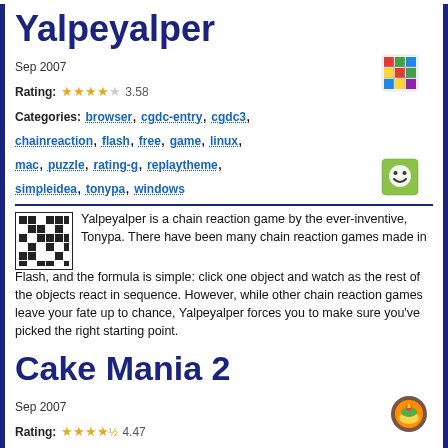Yalpeyalper
Sep 2007
Rating: ★★★★☆ 3.58
Categories: browser, cgdc-entry, cgdc3, chainreaction, flash, free, game, linux, mac, puzzle, rating-g, replaytheme, simpleidea, tonypa, windows
Yalpeyalper is a chain reaction game by the ever-inventive, Tonypa. There have been many chain reaction games made in Flash, and the formula is simple: click one object and watch as the rest of the objects react in sequence. However, while other chain reaction games leave your fate up to chance, Yalpeyalper forces you to make sure you've picked the right starting point.
Cake Mania 2
Sep 2007
Rating: ★★★★½ 4.47
Categories: affiliate, arcade, cakemania, casual, demo, download, game, mac,